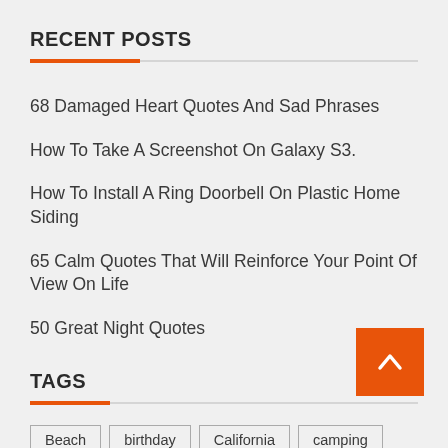RECENT POSTS
68 Damaged Heart Quotes And Sad Phrases
How To Take A Screenshot On Galaxy S3.
How To Install A Ring Doorbell On Plastic Home Siding
65 Calm Quotes That Will Reinforce Your Point Of View On Life
50 Great Night Quotes
TAGS
Beach  birthday  California  camping  Celebration  center  coastline  delighted